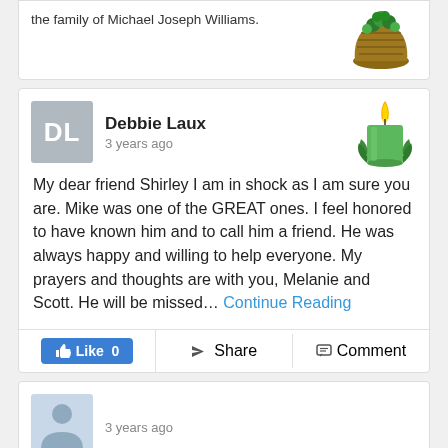the family of Michael Joseph Williams.
[Figure (photo): Green flower basket arrangement]
Debbie Laux
3 years ago
[Figure (illustration): Green candle with flame and leaves]
My dear friend Shirley I am in shock as I am sure you are. Mike was one of the GREAT ones. I feel honored to have known him and to call him a friend. He was always happy and willing to help everyone. My prayers and thoughts are with you, Melanie and Scott. He will be missed... Continue Reading
Like 0   Share   Comment
[Figure (illustration): Anonymous user silhouette avatar]
3 years ago
Beautiful in Blue was purchased for the family of Michael Joseph Williams.
[Figure (photo): Blue and white flower arrangement in vase]